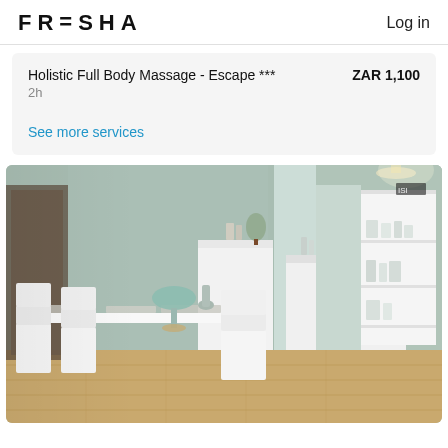FRESHA   Log in
Holistic Full Body Massage - Escape ***   ZAR 1,100
2h
See more services
[Figure (photo): Interior of a spa or beauty salon with a white manicure/nail table, white chairs, sage green walls, wooden floor, white shelving units with products, and soft lighting.]